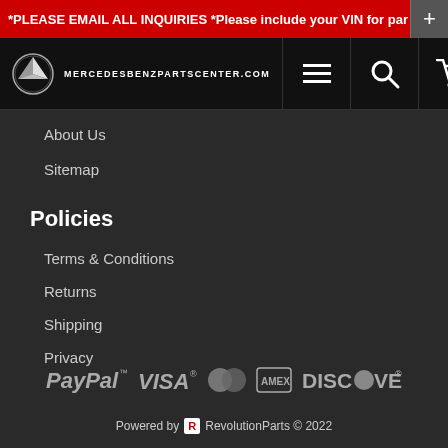*PLEASE EMAIL ALL INQUIRIES *Please include your VIN for part
[Figure (logo): Mercedes-Benz Parts Center navigation bar with MB logo, MERCEDESBENZPARTSCENTER.COM text, hamburger menu, search icon, and cart icon]
About Us
Sitemap
Policies
Terms & Conditions
Returns
Shipping
Privacy
[Figure (logo): Payment method icons: PayPal, VISA, Mastercard, American Express, DISCOVER]
Powered by R RevolutionParts © 2022